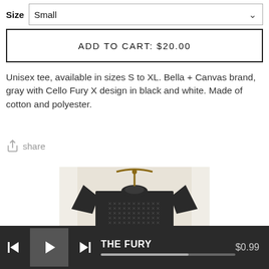Size  Small
ADD TO CART: $20.00
Unisex tee, available in sizes S to XL. Bella + Canvas brand, gray with Cello Fury X design in black and white. Made of cotton and polyester.
share
[Figure (photo): Gray t-shirt on a hanger showing Cello Fury X design in black and white pattern]
THE FURY  $0.99